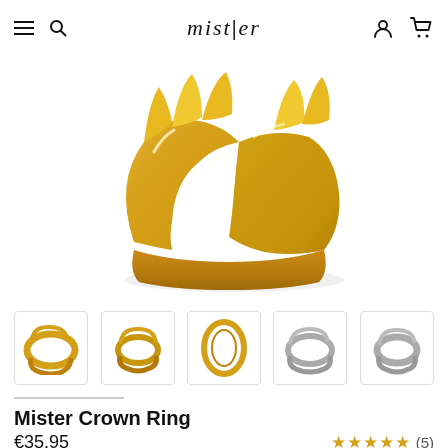mister
[Figure (photo): Gold crown ring product close-up photo showing intertwined gold band structure on white background]
[Figure (photo): Row of 5 thumbnail product images: two gold crown rings from different angles, one gold ring oval view, and two silver crown rings from different angles]
Mister Crown Ring
€35,95
★★★★★ (5)